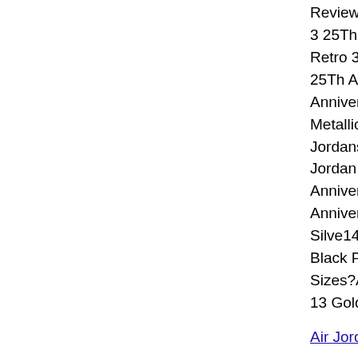ReviewAir Jordan 3 25Th Anniversary Retro 3 25Th Ann 25Th Anniversary Anniversary White Metallic SilveJordansAir Jordan Jordan Retro 3 25Th Anniversary White Anniversary White Silve14`S Jordans Black PantherAir Sizes?Air Jordan R 13 Gold And Whit
Air Jordan Retro 1
Related topicsı
Air Jordan X
Jordan Retro
Russell Wes
Tags:
Air Jordans Popula